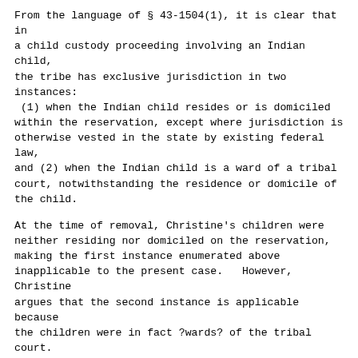From the language of § 43-1504(1), it is clear that in a child custody proceeding involving an Indian child, the tribe has exclusive jurisdiction in two instances:  (1) when the Indian child resides or is domiciled within the reservation, except where jurisdiction is otherwise vested in the state by existing federal law, and (2) when the Indian child is a ward of a tribal court, notwithstanding the residence or domicile of the child.
At the time of removal, Christine's children were neither residing nor domiciled on the reservation, making the first instance enumerated above inapplicable to the present case.   However, Christine argues that the second instance is applicable because the children were in fact ?wards? of the tribal court.  While jurisdictional issues under other § 43-1504 subsections have been discussed by Nebraska courts (see, e.g., In re Interest of Brittany C.  *571 et al., 13 Neb.App. 411, 693 N.W.2d 592 (2005)), and In re Interest of C.W. et al., 239 Neb. 817, 479 N.W.2d 105 (1992) (involving tribe's motion to transfer jurisdictional issues under § 43-1504(1)...